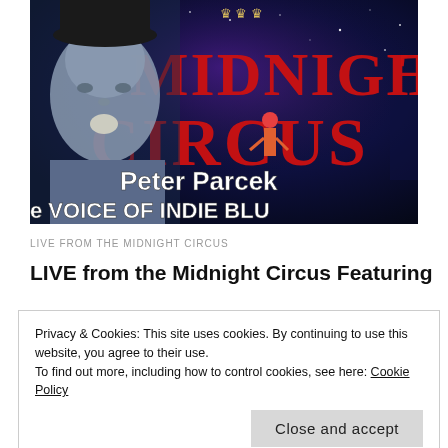[Figure (photo): A promotional image showing a man's face on the left (dark hat, goatee, blue shirt), overlaid on a circus poster background with large red letters reading 'MIDNIGHT CIRCUS' and stylized text. White bold overlay text reads 'Peter Parcek' and 'e VOICE OF INDIE BLU'.]
LIVE FROM THE MIDNIGHT CIRCUS
LIVE from the Midnight Circus Featuring
Privacy & Cookies: This site uses cookies. By continuing to use this website, you agree to their use.
To find out more, including how to control cookies, see here: Cookie Policy
Close and accept
Circus americana, Funk, IBA, independent blues awards,